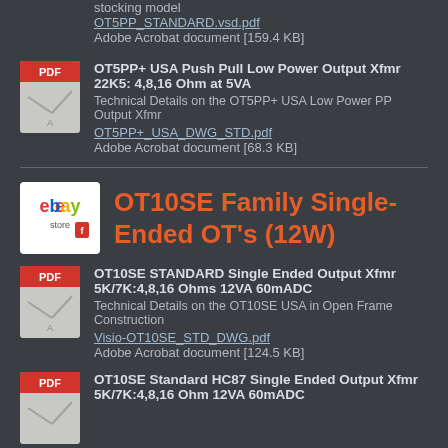stocking model
OT5PP_STANDARD.vsd.pdf
Adobe Acrobat document [159.4 KB]
[Figure (illustration): PDF icon with red header and document graphic]
OT5PP+ USA Push Pull Low Power Output Xfmr 22K5: 4,8,16 Ohm at 5VA
Technical Details on the OT5PP+ USA Low Power PP Output Xfmr
OT5PP+_USA_DWG_STD.pdf
Adobe Acrobat document [68.3 KB]
[Figure (logo): eBay store logo/icon]
OT10SE Family Single-Ended OT's (12W)
[Figure (illustration): PDF icon with red header and document graphic]
OT10SE STANDARD Single Ended Output Xfmr 5K/7K:4,8,16 Ohms 12VA 60mADC
Technical Details on the OT10SE USA in Open Frame Construction
Visio-OT10SE_STD_DWG.pdf
Adobe Acrobat document [124.5 KB]
[Figure (illustration): PDF icon with red header and document graphic]
OT10SE Standard HC87 Single Ended Output Xfmr 5K/7K:4,8,16 Ohm 12VA 60mADC